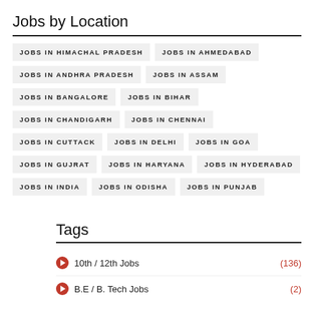Jobs by Location
JOBS IN HIMACHAL PRADESH
JOBS IN AHMEDABAD
JOBS IN ANDHRA PRADESH
JOBS IN ASSAM
JOBS IN BANGALORE
JOBS IN BIHAR
JOBS IN CHANDIGARH
JOBS IN CHENNAI
JOBS IN CUTTACK
JOBS IN DELHI
JOBS IN GOA
JOBS IN GUJRAT
JOBS IN HARYANA
JOBS IN HYDERABAD
JOBS IN INDIA
JOBS IN ODISHA
JOBS IN PUNJAB
Tags
10th / 12th Jobs (136)
B.E / B. Tech Jobs (2)